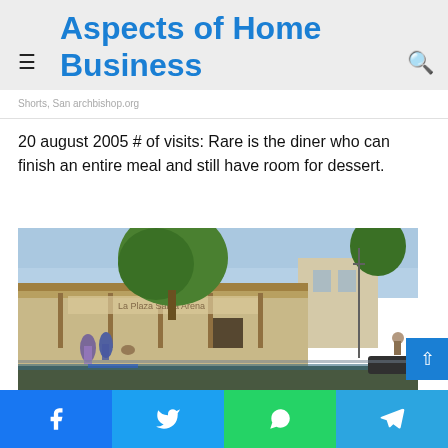Aspects of Home Business
Shorts, San Archbishop.org
20 august 2005 # of visits: Rare is the diner who can finish an entire meal and still have room for dessert.
[Figure (photo): Street view of a Southwestern-style restaurant building with trees, awnings, people on sidewalk, and a blue sky background.]
Facebook | Twitter | WhatsApp | Telegram